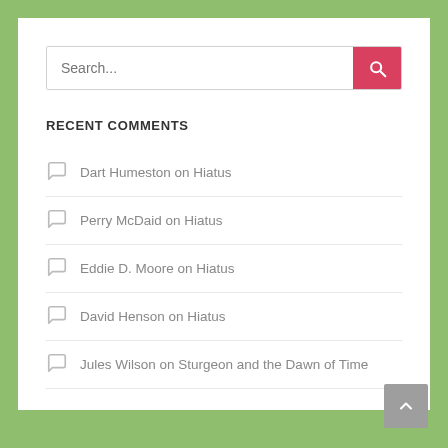Search...
RECENT COMMENTS
Dart Humeston on Hiatus
Perry McDaid on Hiatus
Eddie D. Moore on Hiatus
David Henson on Hiatus
Jules Wilson on Sturgeon and the Dawn of Time